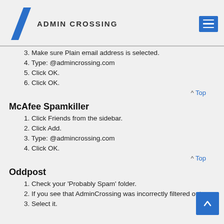ADMINCROSSING
3. Make sure Plain email address is selected.
4. Type: @admincrossing.com
5. Click OK.
6. Click OK.
^ Top
McAfee Spamkiller
1. Click Friends from the sidebar.
2. Click Add.
3. Type: @admincrossing.com
4. Click OK.
^ Top
Oddpost
1. Check your 'Probably Spam' folder.
2. If you see that AdminCrossing was incorrectly filtered out
3. Select it.